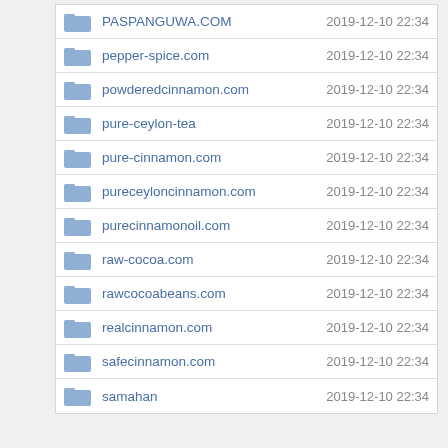| Name | Date Modified |
| --- | --- |
| PASPANGUWA.COM | 2019-12-10 22:34 |
| pepper-spice.com | 2019-12-10 22:34 |
| powderedcinnamon.com | 2019-12-10 22:34 |
| pure-ceylon-tea | 2019-12-10 22:34 |
| pure-cinnamon.com | 2019-12-10 22:34 |
| pureceyloncinnamon.com | 2019-12-10 22:34 |
| purecinnamonoil.com | 2019-12-10 22:34 |
| raw-cocoa.com | 2019-12-10 22:34 |
| rawcocoabeans.com | 2019-12-10 22:34 |
| realcinnamon.com | 2019-12-10 22:34 |
| safecinnamon.com | 2019-12-10 22:34 |
| samahan | 2019-12-10 22:34 |